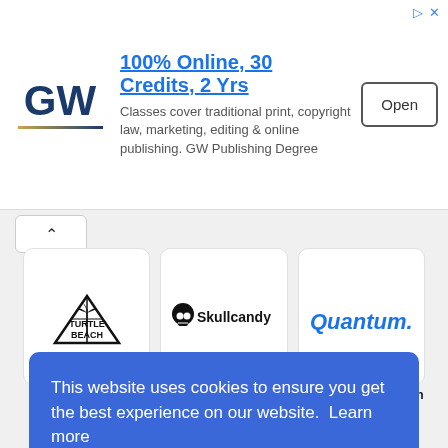[Figure (screenshot): GW University advertisement banner: 100% Online, 30 Credits, 2 Yrs with Open button]
[Figure (logo): Turtle Beach Logo Vector - triangle icon with palm tree and TURTLE BEACH text]
[Figure (logo): Skullcandy Logo Vector - skull icon with Skullcandy text]
[Figure (logo): Quantum Corporation Logo Vector - Quantum. text in blue]
Turtle Beach Logo Vector
Skullcandy Logo Vector
Quantum Corporation Logo Vector
This website uses cookies to ensure you get the best experience on our website. Learn more
Got it!
Technology Logo Vector
Vector
Vector